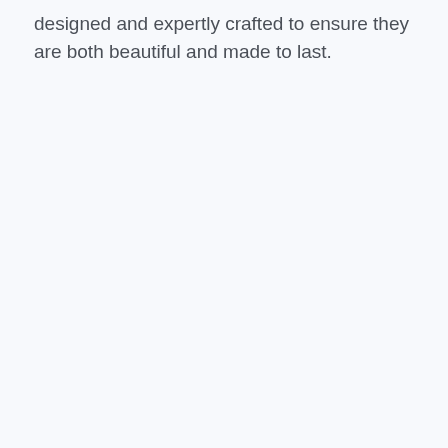designed and expertly crafted to ensure they are both beautiful and made to last.